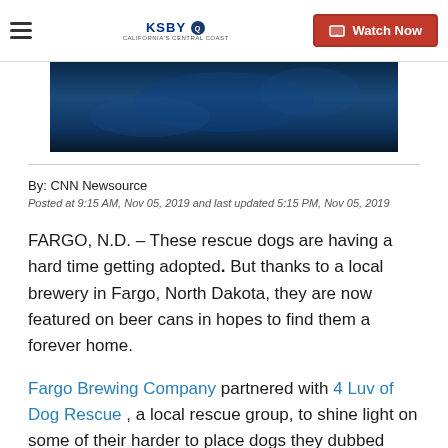KSBY California's Central Coast — Watch Now
[Figure (photo): Dark blue toned hero image, partially visible, showing a blurred background scene]
By: CNN Newsource
Posted at 9:15 AM, Nov 05, 2019 and last updated 5:15 PM, Nov 05, 2019
FARGO, N.D. – These rescue dogs are having a hard time getting adopted. But thanks to a local brewery in Fargo, North Dakota, they are now featured on beer cans in hopes to find them a forever home.
Fargo Brewing Company partnered with 4 Luv of Dog Rescue , a local rescue group, to shine light on some of their harder to place dogs they dubbed "One-der" dogs.